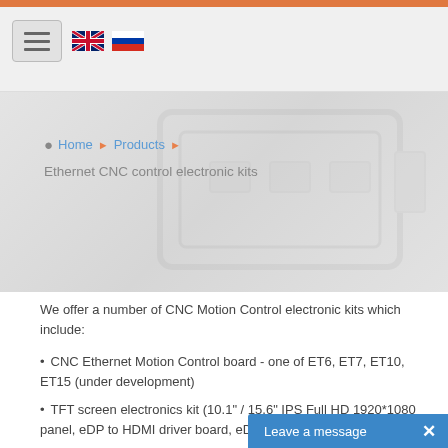Navigation header with menu button, UK and Russia flag icons
[Figure (screenshot): Hero banner with faint geometric/hardware shapes in light grey]
Home ▶ Products ▶
Ethernet CNC control electronic kits
We offer a number of CNC Motion Control electronic kits which include:
CNC Ethernet Motion Control board - one of ET6, ET7, ET10, ET15 (under development)
TFT screen electronics kit (10.1" / 15.6" IPS Full HD 1920*1080 panel, eDP to HDMI driver board, eDP flex cable, HDMI cable, 10.…
Leave a message  ×